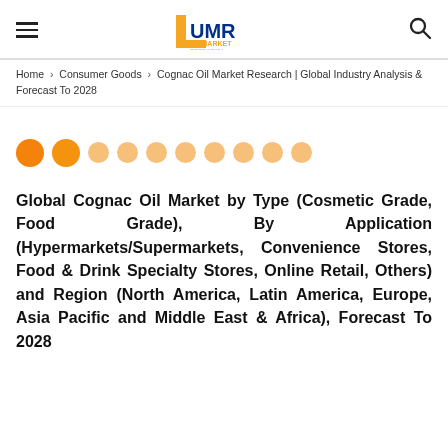UMR Up Market Research
Home > Consumer Goods > Cognac Oil Market Research | Global Industry Analysis & Forecast To 2028
[Figure (other): Carousel dot navigation with two solid orange dots and several smaller light orange/faded dots indicating a slideshow position indicator]
Global Cognac Oil Market by Type (Cosmetic Grade, Food Grade), By Application (Hypermarkets/Supermarkets, Convenience Stores, Food & Drink Specialty Stores, Online Retail, Others) and Region (North America, Latin America, Europe, Asia Pacific and Middle East & Africa), Forecast To 2028